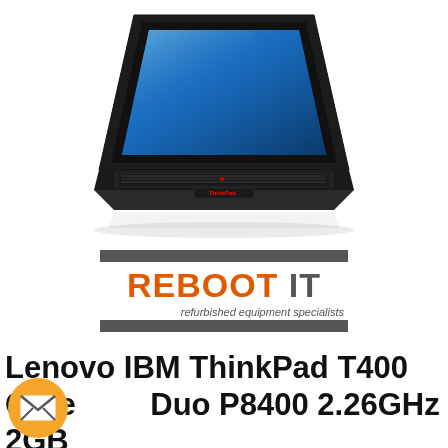[Figure (photo): Lenovo IBM ThinkPad T400 laptop computer, shown at an angle with blue screen, black keyboard and body, with a subtle reflection below]
[Figure (logo): REBOOT IT logo — orange bold text 'REBOOT' and grey 'IT', sandwiched between two dark grey horizontal bars, with tagline 'refurbished equipment specialists' in grey italic below]
Lenovo IBM ThinkPad T400 Core Duo P8400 2.26GHz 2GB 80GB 3mth Wty Laptop CHEAP